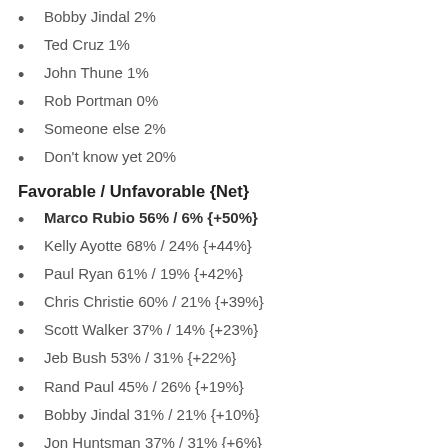Bobby Jindal 2%
Ted Cruz 1%
John Thune 1%
Rob Portman 0%
Someone else 2%
Don't know yet 20%
Favorable / Unfavorable {Net}
Marco Rubio 56% / 6% {+50%}
Kelly Ayotte 68% / 24% {+44%}
Paul Ryan 61% / 19% {+42%}
Chris Christie 60% / 21% {+39%}
Scott Walker 37% / 14% {+23%}
Jeb Bush 53% / 31% {+22%}
Rand Paul 45% / 26% {+19%}
Bobby Jindal 31% / 21% {+10%}
Jon Huntsman 37% / 31% {+6%}
Rob Portman 20% / 14% {+6%}